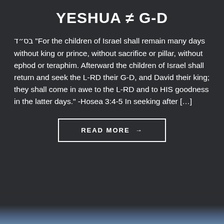YESHUA ≠ G-D
בס״ד "For the children of Israel shall remain many days without king or prince, without sacrifice or pillar, without ephod or teraphim. Afterward the children of Israel shall return and seek the L-RD their G-D, and David their king; they shall come in awe to the L-RD and to HIS goodness in the latter days." -Hosea 3:4-5 In seeking after […]
READ MORE →